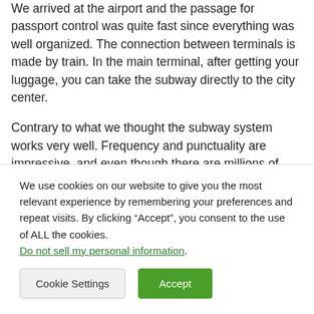We arrived at the airport and the passage for passport control was quite fast since everything was well organized. The connection between terminals is made by train. In the main terminal, after getting your luggage, you can take the subway directly to the city center.
Contrary to what we thought the subway system works very well. Frequency and punctuality are impressive, and even though there are millions of people using this means of transportation daily, it is not usual to see
We use cookies on our website to give you the most relevant experience by remembering your preferences and repeat visits. By clicking “Accept”, you consent to the use of ALL the cookies. Do not sell my personal information.